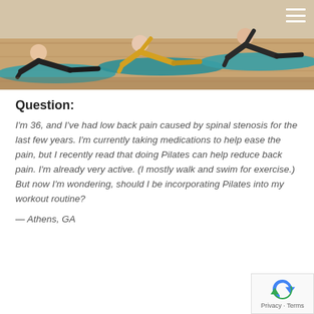[Figure (photo): Group of people doing a side plank Pilates exercise on blue yoga mats in a gym with wooden floors. Several participants visible in a row performing the same movement.]
Question:
I'm 36, and I've had low back pain caused by spinal stenosis for the last few years. I'm currently taking medications to help ease the pain, but I recently read that doing Pilates can help reduce back pain. I'm already very active. (I mostly walk and swim for exercise.) But now I'm wondering, should I be incorporating Pilates into my workout routine?
— Athens, GA